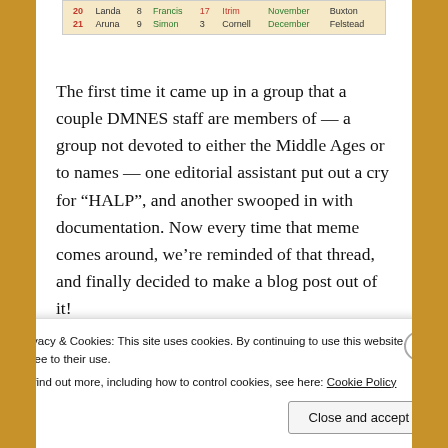[Figure (table-as-image): Partial table snippet showing rows with names and months: Landa, Francis, Cornell, November, Buxton; Aruna, Simon, Cornell, December, Felstead]
The first time it came up in a group that a couple DMNES staff are members of — a group not devoted to either the Middle Ages or to names — one editorial assistant put out a cry for “HALP”, and another swooped in with documentation. Now every time that meme comes around, we’re reminded of that thread, and finally decided to make a blog post out of it!
So, how medieval is “Your Medieval Name”? Actually, pretty medieval!
Privacy & Cookies: This site uses cookies. By continuing to use this website, you agree to their use.
To find out more, including how to control cookies, see here: Cookie Policy
Close and accept